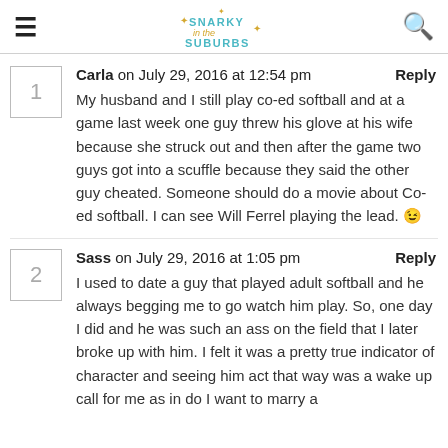Snarky in the Suburbs
Carla on July 29, 2016 at 12:54 pm   Reply
My husband and I still play co-ed softball and at a game last week one guy threw his glove at his wife because she struck out and then after the game two guys got into a scuffle because they said the other guy cheated. Someone should do a movie about Co-ed softball. I can see Will Ferrel playing the lead. 😉
Sass on July 29, 2016 at 1:05 pm   Reply
I used to date a guy that played adult softball and he always begging me to go watch him play. So, one day I did and he was such an ass on the field that I later broke up with him. I felt it was a pretty true indicator of character and seeing him act that way was a wake up call for me as in do I want to marry a